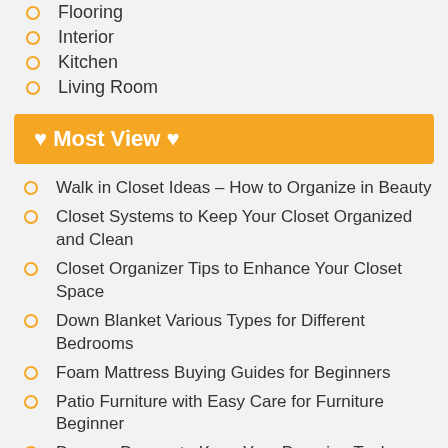Flooring
Interior
Kitchen
Living Room
♥ Most View ♥
Walk in Closet Ideas – How to Organize in Beauty
Closet Systems to Keep Your Closet Organized and Clean
Closet Organizer Tips to Enhance Your Closet Space
Down Blanket Various Types for Different Bedrooms
Foam Mattress Buying Guides for Beginners
Patio Furniture with Easy Care for Furniture Beginner
Dresser Drawer to Keep Your Dressing Tools Tidily
White Dresser Crucial Benefits for Those with Frequent Appointment
Paver Walkway DIY Project: Installing Walkway on a Budget